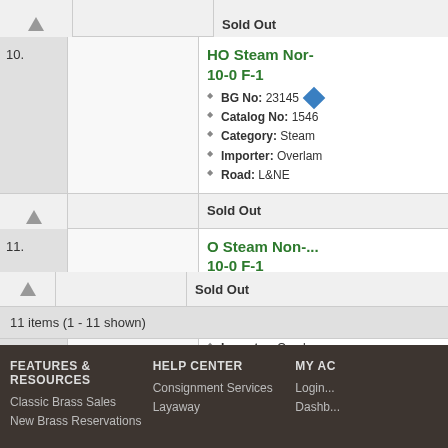| # | Image | Details |
| --- | --- | --- |
|  |  | Sold Out |
| 10. |  | HO Steam Nor- 10-0 F-1
BG No: 23145
Catalog No: 1546
Category: Steam
Importer: Overlam
Road: L&NE
Sold Out |
| 11. |  | O Steam Non-... 10-0 F-1
BG No: 29921
Catalog No: 0190
Category: Steam
Importer: Overlam
Road: L&NE
Sold Out |
11 items (1 - 11 shown)
FEATURES & RESOURCES  HELP CENTER  MY AC...
Classic Brass Sales  Consignment Services  Login...
New Brass Reservations  Layaway  Dashb...